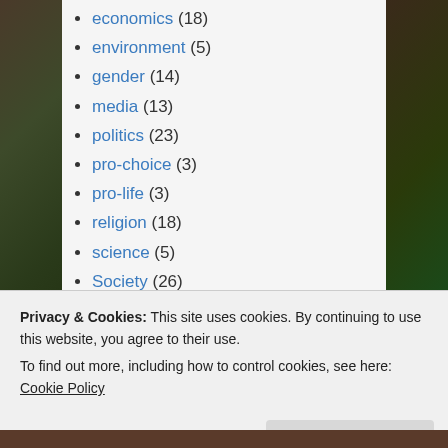economics (18)
environment (5)
gender (14)
media (13)
politics (23)
pro-choice (3)
pro-life (3)
religion (18)
science (5)
Society (26)
technology (8)
Uncategorized (268)
Privacy & Cookies: This site uses cookies. By continuing to use this website, you agree to their use.
To find out more, including how to control cookies, see here: Cookie Policy
Close and accept